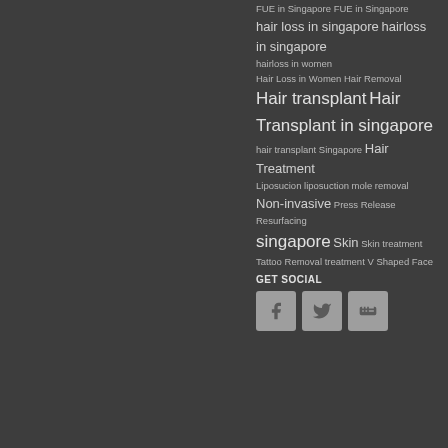FUE in Singapore FUE in Singapore hair loss in singapore hairloss in singapore hairloss in women Hair Loss in Women Hair Removal Hair transplant Hair Transplant in singapore hair transplant Singapore Hair Treatment Liposucion liposuction mole removal Non-invasive Press Release Resurfacing singapore Skin Skin treatment Tattoo Removal treatment V Shaped Face
GET SOCIAL
[Figure (other): Three social media icon buttons: Facebook (f), Twitter (bird), Blogger (B), displayed as gray rounded square buttons]